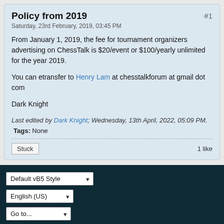Policy from 2019
Saturday, 23rd February, 2019, 03:45 PM
From January 1, 2019, the fee for tournament organizers advertising on ChessTalk is $20/event or $100/yearly unlimited for the year 2019.
You can etransfer to Henry Lam at chesstalkforum at gmail dot com
Dark Knight
Last edited by Dark Knight; Wednesday, 13th April, 2022, 05:09 PM.
Tags: None
Stuck   1 like
Default vB5 Style
English (US)
Go to...
Powered by vBulletin® Version 5.6.1
Copyright © 2022 MH Sub I, LLC dba vBulletin. All rights reserved.
All times are GMT-5. This page was generated at 11:19 PM.